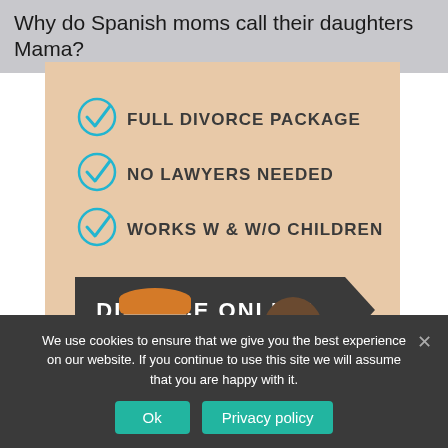Why do Spanish moms call their daughters Mama?
[Figure (infographic): Advertisement for online divorce service on a beige background. Three bullet points with cyan checkmarks: 'FULL DIVORCE PACKAGE', 'NO LAWYERS NEEDED', 'WORKS W & W/O CHILDREN'. Below is a dark arrow-shaped banner reading 'DIVORCE ONLINE'. At the bottom are two people (a man in an orange beanie and a woman in a striped shirt) looking at each other.]
We use cookies to ensure that we give you the best experience on our website. If you continue to use this site we will assume that you are happy with it.